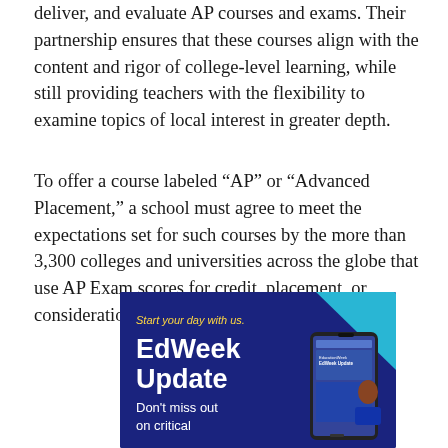deliver, and evaluate AP courses and exams. Their partnership ensures that these courses align with the content and rigor of college-level learning, while still providing teachers with the flexibility to examine topics of local interest in greater depth.
To offer a course labeled “AP” or “Advanced Placement,” a school must agree to meet the expectations set for such courses by the more than 3,300 colleges and universities across the globe that use AP Exam scores for credit, placement, or consideration in the admission process.
[Figure (illustration): EdWeek Update advertisement banner with dark blue background and cyan triangle in top-right corner. Text reads 'Start your day with us.' in yellow italic, 'EdWeek Update' in large white bold, 'Don't miss out on critical' in white. A smartphone mockup is shown on the right side displaying the EdWeek Update app.]